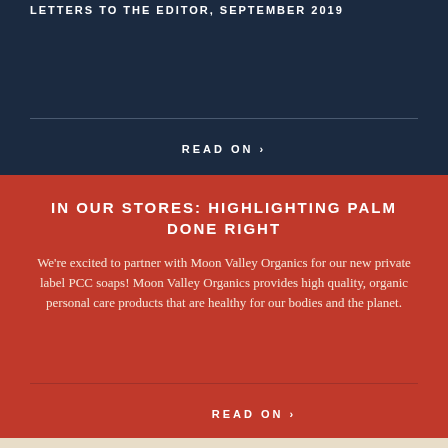LETTERS TO THE EDITOR, SEPTEMBER 2019
READ ON >
IN OUR STORES: HIGHLIGHTING PALM DONE RIGHT
We're excited to partner with Moon Valley Organics for our new private label PCC soaps! Moon Valley Organics provides high quality, organic personal care products that are healthy for our bodies and the planet.
READ ON >